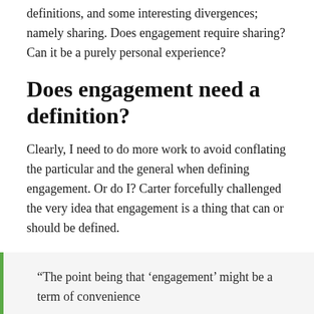definitions, and some interesting divergences; namely sharing. Does engagement require sharing? Can it be a purely personal experience?
Does engagement need a definition?
Clearly, I need to do more work to avoid conflating the particular and the general when defining engagement. Or do I? Carter forcefully challenged the very idea that engagement is a thing that can or should be defined.
“The point being that ‘engagement’ might be a term of convenience